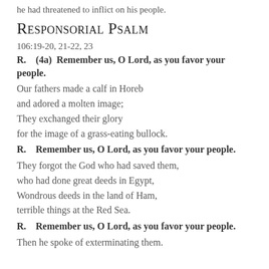he had threatened to inflict on his people.
Responsorial Psalm
106:19-20, 21-22, 23
R.    (4a)  Remember us, O Lord, as you favor your people.
Our fathers made a calf in Horeb
and adored a molten image;
They exchanged their glory
for the image of a grass-eating bullock.
R.    Remember us, O Lord, as you favor your people.
They forgot the God who had saved them,
who had done great deeds in Egypt,
Wondrous deeds in the land of Ham,
terrible things at the Red Sea.
R.    Remember us, O Lord, as you favor your people.
Then he spoke of exterminating them.